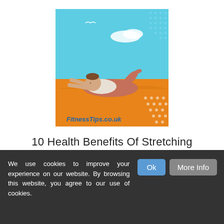[Figure (illustration): Illustration of a person doing a stretching exercise lying down on an orange/sandy surface with a blue sky background. Text 'FitnessTips.co.uk' visible at bottom. Dotted pattern in corners.]
10 Health Benefits Of Stretching
[Figure (illustration): Close-up illustration of food items on a green background: a fried egg (white with yellow yolk) on the left and a brown bread roll or potato on the right.]
We use cookies to improve your experience on our website. By browsing this website, you agree to our use of cookies.